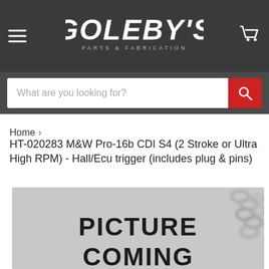Goleby's Parts & Fabrication
What are you looking for?
Home › HT-020283 M&W Pro-16b CDI S4 (2 Stroke or Ultra High RPM) - Hall/Ecu trigger (includes plug & pins)
HT-020283 M&W Pro-16b CDI S4 (2 Stroke or Ultra High RPM) - Hall/Ecu trigger (includes plug & pins)
[Figure (photo): Product image placeholder showing 'PICTURE COMING SOON' text on grey background]